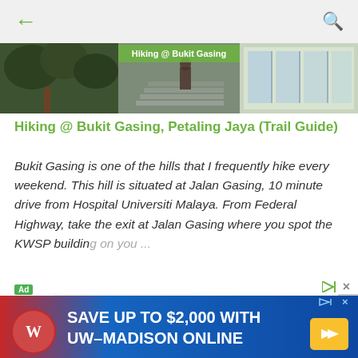← [back arrow] ... [search icon]
[Figure (photo): Hero image strip showing hiking trail scenes at Bukit Gasing — trees, stairs, and a glass building]
Hiking @ Bukit Gasing, Petaling Jaya (Trail Guide)
Bukit Gasing is one of the hills that I frequently hike every weekend. This hill is situated at Jalan Gasing, 10 minute drive from Hospital Universiti Malaya. From Federal Highway, take the exit at Jalan Gasing where you spot the KWSP building on you...
[Figure (photo): Advertisement showing a modern white kitchen interior]
[Figure (infographic): Bottom banner ad: SAVE UP TO $2,000 WITH UW-MADISON ONLINE with University of Wisconsin logo and arrow button]